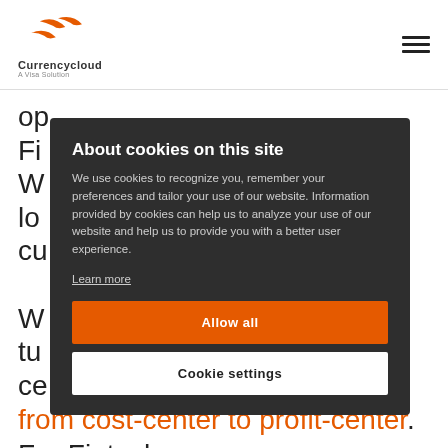Currencycloud — A Visa Solution
op Fi W lo cu W tu ce from cost-center to profit-center. For Fintechs that want to know more about how
About cookies on this site
We use cookies to recognize you, remember your preferences and tailor your use of our website. Information provided by cookies can help us to analyze your use of our website and help us to provide you with a better user experience.
Learn more
Allow all
Cookie settings